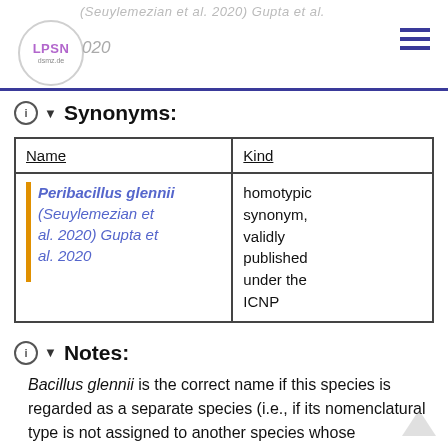(Seuylemezian et al. 2020) Gupta et al. 2020 — LPSN dsmz.de
Synonyms:
| Name | Kind |
| --- | --- |
| Peribacillus glennii (Seuylemezian et al. 2020) Gupta et al. 2020 | homotypic synonym, validly published under the ICNP |
Notes:
Bacillus glennii is the correct name if this species is regarded as a separate species (i.e., if its nomenclatural type is not assigned to another species whose